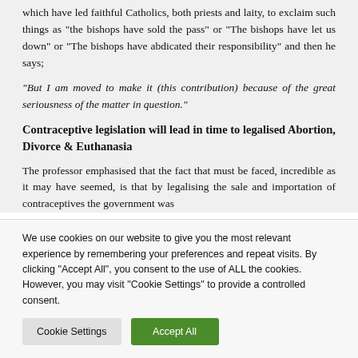which have led faithful Catholics, both priests and laity, to exclaim such things as “the bishops have sold the pass” or “The bishops have let us down” or “The bishops have abdicated their responsibility” and then he says;
“But I am moved to make it (this contribution) because of the great seriousness of the matter in question.”
Contraceptive legislation will lead in time to legalised Abortion, Divorce & Euthanasia
The professor emphasised that the fact that must be faced, incredible as it may have seemed, is that by legalising the sale and importation of contraceptives the government was
We use cookies on our website to give you the most relevant experience by remembering your preferences and repeat visits. By clicking “Accept All”, you consent to the use of ALL the cookies. However, you may visit “Cookie Settings” to provide a controlled consent.